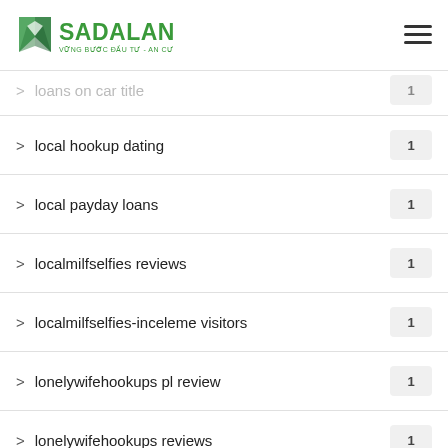SADALAND — VỮNG BƯỚC ĐẦU TƯ - AN CƯ LẠC NGHIỆP
> loans on car title  1
> local hookup dating  1
> local payday loans  1
> localmilfselfies reviews  1
> localmilfselfies-inceleme visitors  1
> lonelywifehookups pl review  1
> lonelywifehookups reviews  1
> long term installment loans  1